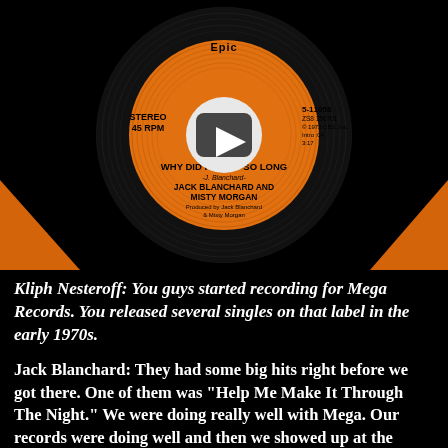[Figure (photo): A vinyl 45 RPM record on an orange Epic Records label. The label reads: STEREO 45 RPM, S-11058, ZS8 158701, © 1973 CBS, Inc., Intro :04, 3:17, WHY DID I SLEEP SO LONG, J. Blanchard, JACK BLANCHARD AND MISTY MORGAN, Produced by Jack Blanchard & Misty Morgan. A YouTube play button overlay appears in the center of the record.]
Kliph Nesteroff: You guys started recording for Mega Records. You released several singles on that label in the early 1970s.
Jack Blanchard: They had some big hits right before we got there. One of them was "Help Me Make It Through The Night." We were doing really well with Mega. Our records were doing well and then we showed up at the office one day and everyone was